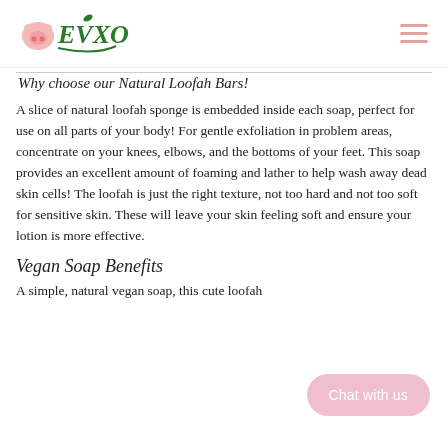EVXO [logo]
Why choose our Natural Loofah Bars!
A slice of natural loofah sponge is embedded inside each soap, perfect for use on all parts of your body! For gentle exfoliation in problem areas, concentrate on your knees, elbows, and the bottoms of your feet. This soap provides an excellent amount of foaming and lather to help wash away dead skin cells! The loofah is just the right texture, not too hard and not too soft for sensitive skin. These will leave your skin feeling soft and ensure your lotion is more effective.
Vegan Soap Benefits
A simple, natural vegan soap, this cute loofah